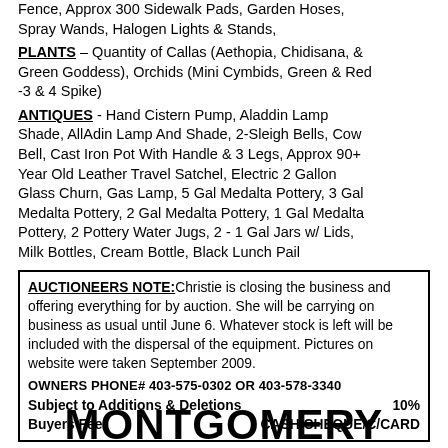Fence, Approx 300 Sidewalk Pads, Garden Hoses, Spray Wands, Halogen Lights & Stands,
PLANTS – Quantity of Callas (Aethopia, Chidisana, & Green Goddess), Orchids (Mini Cymbids, Green & Red -3 & 4 Spike)
ANTIQUES - Hand Cistern Pump, Aladdin Lamp Shade, AllAdin Lamp And Shade, 2-Sleigh Bells, Cow Bell, Cast Iron Pot With Handle & 3 Legs, Approx 90+ Year Old Leather Travel Satchel, Electric 2 Gallon Glass Churn, Gas Lamp, 5 Gal Medalta Pottery, 3 Gal Medalta Pottery, 2 Gal Medalta Pottery, 1 Gal Medalta Pottery, 2 Pottery Water Jugs, 2 - 1 Gal Jars w/ Lids, Milk Bottles, Cream Bottle, Black Lunch Pail
AUCTIONEERS NOTE: Christie is closing the business and offering everything for by auction. She will be carrying on business as usual until June 6. Whatever stock is left will be included with the dispersal of the equipment. Pictures on website were taken September 2009. OWNERS PHONE# 403-575-0302 OR 403-578-3340 Subject to Additions & Deletions 10% Buyers Fee CASH/CHEQUE/C/CARD
MONTGOMERY